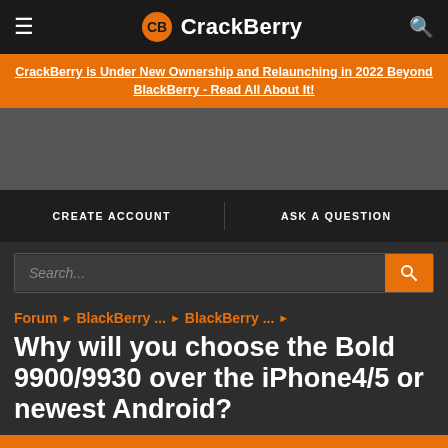CrackBerry
CrackBerry is Under New Ownership and Relaunching in 2022 Beyond BlackBerry - Read All About It!
CREATE ACCOUNT   ASK A QUESTION
Search...
Forum ▶ BlackBerry ... ▶ BlackBerry ... ▶
Why will you choose the Bold 9900/9930 over the iPhone4/5 or newest Android?